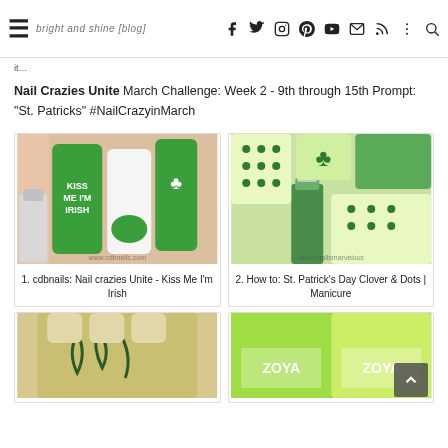≡ [blog name] | f tw ig pi yt mail rss ⋮ search
Nail Crazies Unite March Challenge: Week 2 - 9th through 15th Prompt: "St. Patricks" #NailCrazyinMarch
[Figure (photo): Green and white St. Patrick's Day nail art with 'Kiss Me I'm Irish' text and shamrock designs, with a nail polish bottle]
1. cdbnails: Nail crazies Unite - Kiss Me I'm Irish
[Figure (photo): St. Patrick's Day nail art featuring clover/shamrock and green polka dots on light green base, with glittery green nail polish bottle]
2. How to: St. Patrick's Day Clover & Dots | Manicure
[Figure (photo): Nail art with light yellow/green base and dark green snake or swirl designs]
[Figure (photo): Zoya nail polish bottles in lime green colors]